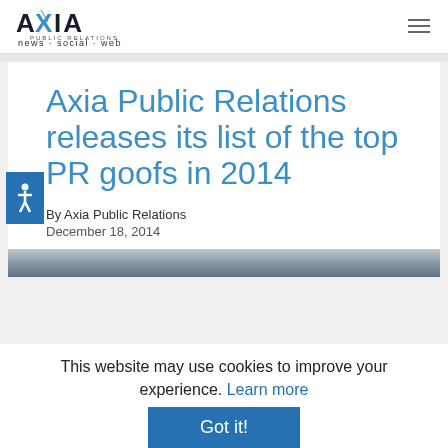AXIA PUBLIC RELATIONS — news · social · web
Axia Public Relations releases its list of the top PR goofs in 2014
By Axia Public Relations
December 18, 2014
[Figure (photo): Partial image visible at bottom of article card, appears to be a dark/grey scene]
This website may use cookies to improve your experience. Learn more
Got it!